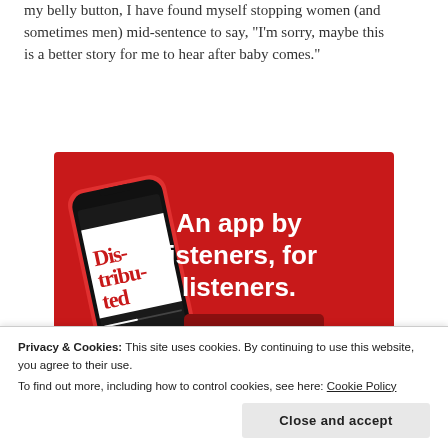my belly button, I have found myself stopping women (and sometimes men) mid-sentence to say, "I'm sorry, maybe this is a better story for me to hear after baby comes."
[Figure (screenshot): Red advertisement banner for a podcast app. Shows a smartphone displaying a podcast called 'Distributed'. Text on the right reads 'An app by listeners, for listeners.' with a 'Download now' button.]
Privacy & Cookies: This site uses cookies. By continuing to use this website, you agree to their use.
To find out more, including how to control cookies, see here: Cookie Policy
Close and accept